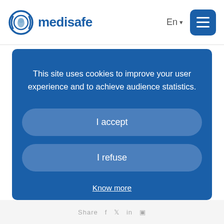medisafe  En  ☰
This site uses cookies to improve your user experience and to achieve audience statistics.
I accept
I refuse
Know more